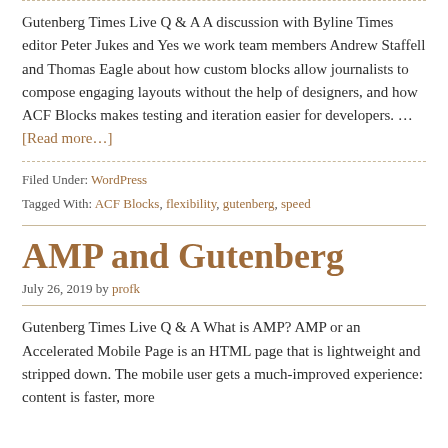Gutenberg Times Live Q & A A discussion with Byline Times editor Peter Jukes and Yes we work team members Andrew Staffell and Thomas Eagle about how custom blocks allow journalists to compose engaging layouts without the help of designers, and how ACF Blocks makes testing and iteration easier for developers. … [Read more…]
Filed Under: WordPress
Tagged With: ACF Blocks, flexibility, gutenberg, speed
AMP and Gutenberg
July 26, 2019 by profk
Gutenberg Times Live Q & A What is AMP? AMP or an Accelerated Mobile Page is an HTML page that is lightweight and stripped down. The mobile user gets a much-improved experience: content is faster, more